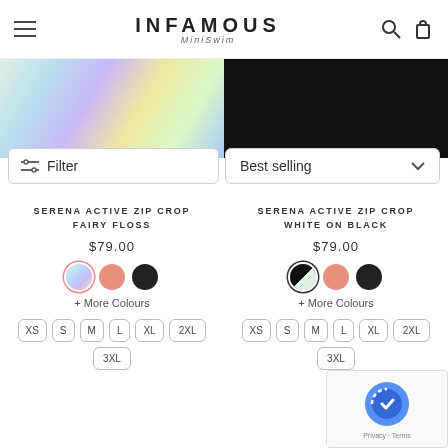INFAMOUS MiniSwim
[Figure (screenshot): Filter button and Best selling sort dropdown bar]
[Figure (photo): Serena Active Zip Crop Fairy Floss product image - holographic rainbow swimwear top]
SERENA ACTIVE ZIP CROP
FAIRY FLOSS
$79.00
+ More Colours
XS S M L XL 2XL 3XL
[Figure (photo): Serena Active Zip Crop White on Black product image - black swimwear top]
SERENA ACTIVE ZIP CROP
WHITE ON BLACK
$79.00
+ More Colours
XS S M L XL 2XL 3XL